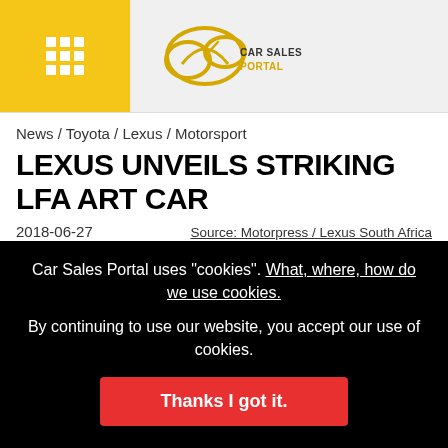Car Sales Portal — navigation header with menu button and logo
News / Toyota / Lexus / Motorsport
LEXUS UNVEILS STRIKING LFA ART CAR
2018-06-27
Source: Motorpress / Lexus South Africa
[Figure (photo): Article image placeholder (light grey box)]
Car Sales Portal uses "cookies". What, where, how do we use cookies.
By continuing to use our website, you accept our use of cookies.
Thanks I got it.